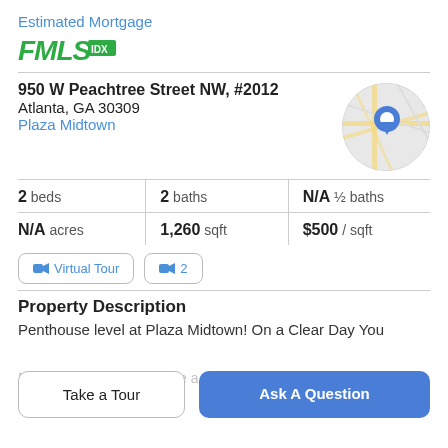Estimated Mortgage
[Figure (logo): FMLS IDX logo in green]
950 W Peachtree Street NW, #2012
Atlanta, GA 30309
Plaza Midtown
[Figure (map): Circular map thumbnail showing location pin at Plaza Midtown Atlanta]
| Stat | Value |
| --- | --- |
| beds | 2 |
| baths | 2 |
| ½ baths | N/A |
| acres | N/A |
| sqft | 1,260 |
| / sqft | $500 |
🎥 Virtual Tour
🎥 2
Property Description
Penthouse level at Plaza Midtown! On a Clear Day You
Recent renovations include a designer электр the bl
Take a Tour
Ask A Question